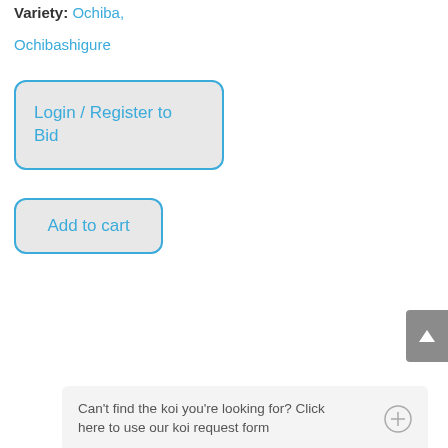Variety: Ochiba, Ochibashigure
[Figure (other): Login / Register to Bid button — rounded rectangle with blue border and grey background]
[Figure (other): Add to cart button — rounded rectangle with blue border and grey background]
[Figure (other): Scroll to top arrow button — grey rounded rectangle on right edge]
Can't find the koi you're looking for? Click here to use our koi request form